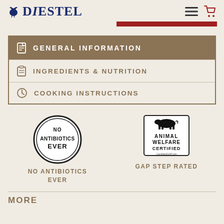Diestel
GENERAL INFORMATION
INGREDIENTS & NUTRITION
COOKING INSTRUCTIONS
[Figure (logo): No Antibiotics Ever circular badge logo]
NO ANTIBIOTICS EVER
[Figure (logo): Animal Welfare Certified badge logo]
GAP STEP RATED
MORE